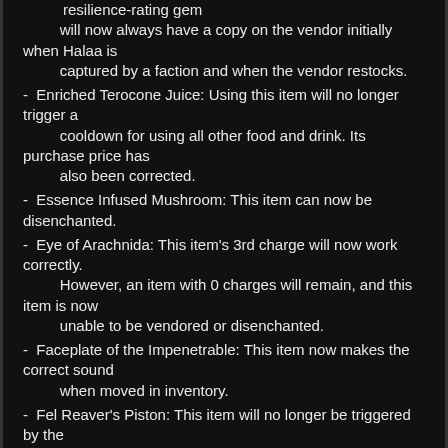resilience-rating gem will now always have a copy on the vendor initially when Halaa is captured by a faction and when the vendor restocks.
Enriched Terocone Juice: Using this item will no longer trigger a cooldown for using all other food and drink. Its purchase price has also been corrected.
Essence Infused Mushroom: This item can now be disenchanted.
Eye of Arachnida: This item's 3rd charge will now work correctly. However, an item with 0 charges will remain, and this item is now unable to be vendored or disenchanted.
Faceplate of the Impenetrable: This item now makes the correct sound when moved in inventory.
Fel Reaver's Piston: This item will no longer be triggered by the healing generated by Vampiric Embrace.
Figurine of the Colossus: This item is no longer affected by global cooldowns.
Figurine of the Colossus: This item is now useable when the user has no mana.
Flasks: Various tooltips have been adjusted for consistency.
Formula: Enchant Chest - Major Resilience: